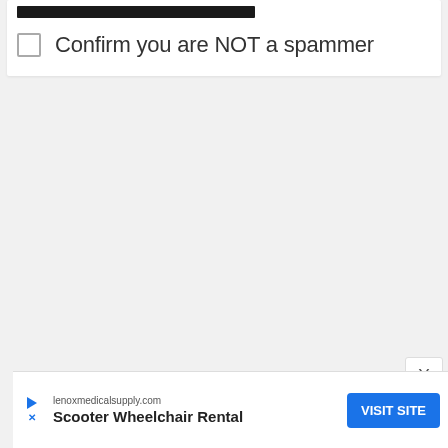[Figure (screenshot): Black filled rectangle bar at top of form card]
Confirm you are NOT a spammer
X
[Figure (illustration): Partially visible red circle button]
lenoxmedicalsupply.com
Scooter Wheelchair Rental
VISIT SITE